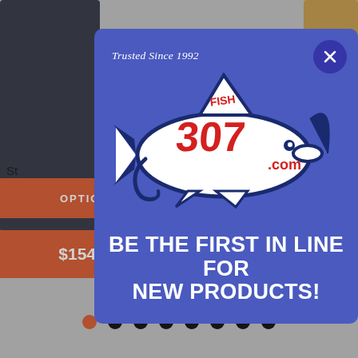[Figure (screenshot): E-commerce product page background showing product images, OPTIONS buttons, $154.76 price, ADD TO CART button, and pagination dots]
[Figure (logo): Fish307.com logo on blue modal popup — shark-shaped logo with '307' text and 'Trusted Since 1992' tagline]
BE THE FIRST IN LINE FOR NEW PRODUCTS!